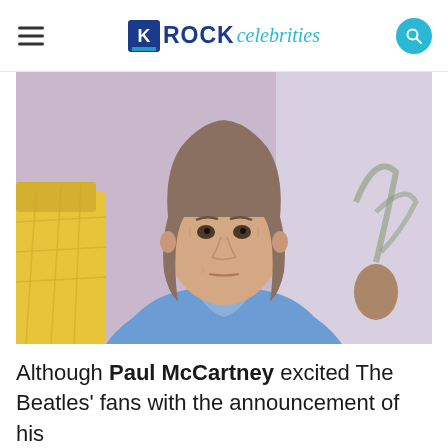ROCK celebrities
[Figure (photo): An elderly man with shoulder-length gray-brown hair wearing a blue blazer over a plaid shirt, seated in front of a pink/lavender background with a yellow chair visible to the left. He is looking directly at the camera with a serious expression.]
Although Paul McCartney excited The Beatles' fans with the announcement of his new book 'The Lyrics,' he received a huge backlash as fans' orders constantly get